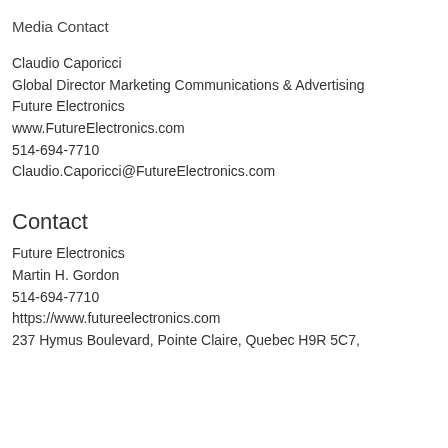Media Contact
Claudio Caporicci
Global Director Marketing Communications & Advertising
Future Electronics
www.FutureElectronics.com
514-694-7710
Claudio.Caporicci@FutureElectronics.com
Contact
Future Electronics
Martin H. Gordon
514-694-7710
https://www.futureelectronics.com
237 Hymus Boulevard, Pointe Claire, Quebec H9R 5C7,